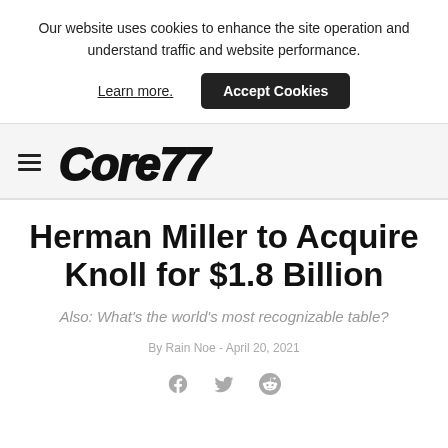Our website uses cookies to enhance the site operation and understand traffic and website performance.
Learn more.
Accept Cookies
Core77
Herman Miller to Acquire Knoll for $1.8 Billion
Also: What's the world's most recognizable table?
By Rain Noe - April 20, 2021
[Figure (other): Social sharing icons: Facebook, Twitter, Reddit]